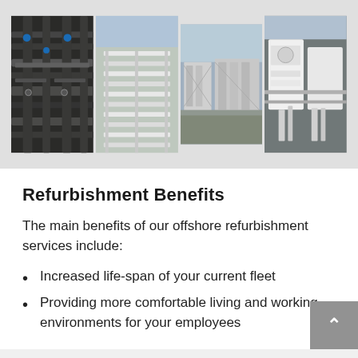[Figure (photo): Four side-by-side photos of industrial offshore equipment: pipe manifolds, structural frameworks, and mechanical components viewed from above and at angles.]
Refurbishment Benefits
The main benefits of our offshore refurbishment services include:
Increased life-span of your current fleet
Providing more comfortable living and working environments for your employees